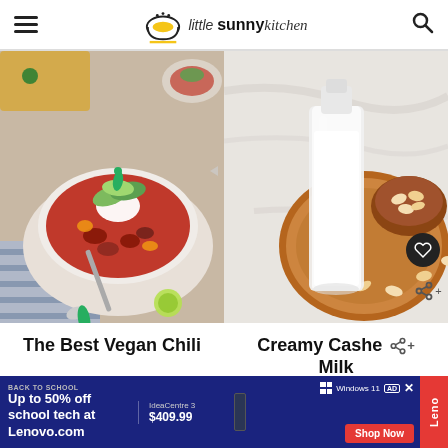little sunny kitchen
[Figure (photo): Bowl of vegan chili topped with avocado slices, jalapeno, and sour cream, with cornbread and limes in background]
[Figure (photo): Glass bottle of creamy cashew milk on a wooden board surrounded by cashews]
The Best Vegan Chili
Creamy Cashew Milk
[Figure (infographic): Advertisement banner: Lenovo Back to School - Up to 50% off school tech at Lenovo.com, IdeaCentre 3 $409.99, Windows 11, Shop Now button]